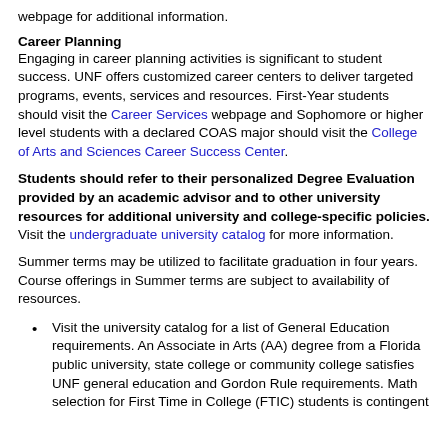webpage for additional information.
Career Planning
Engaging in career planning activities is significant to student success. UNF offers customized career centers to deliver targeted programs, events, services and resources. First-Year students should visit the Career Services webpage and Sophomore or higher level students with a declared COAS major should visit the College of Arts and Sciences Career Success Center.
Students should refer to their personalized Degree Evaluation provided by an academic advisor and to other university resources for additional university and college-specific policies. Visit the undergraduate university catalog for more information.
Summer terms may be utilized to facilitate graduation in four years. Course offerings in Summer terms are subject to availability of resources.
Visit the university catalog for a list of General Education requirements. An Associate in Arts (AA) degree from a Florida public university, state college or community college satisfies UNF general education and Gordon Rule requirements. Math selection for First Time in College (FTIC) students is contingent